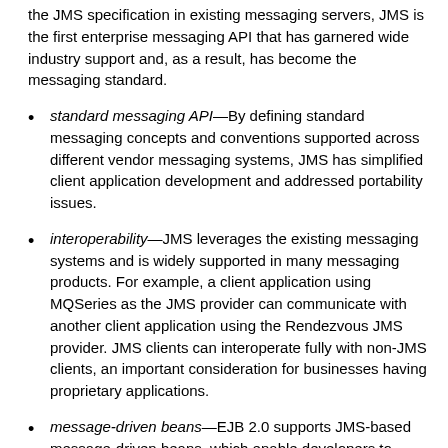the JMS specification in existing messaging servers, JMS is the first enterprise messaging API that has garnered wide industry support and, as a result, has become the messaging standard.
standard messaging API—By defining standard messaging concepts and conventions supported across different vendor messaging systems, JMS has simplified client application development and addressed portability issues.
interoperability—JMS leverages the existing messaging systems and is widely supported in many messaging products. For example, a client application using MQSeries as the JMS provider can communicate with another client application using the Rendezvous JMS provider. JMS clients can interoperate fully with non-JMS clients, an important consideration for businesses having proprietary applications.
message-driven beans—EJB 2.0 supports JMS-based message-driven beans, which enable developers to